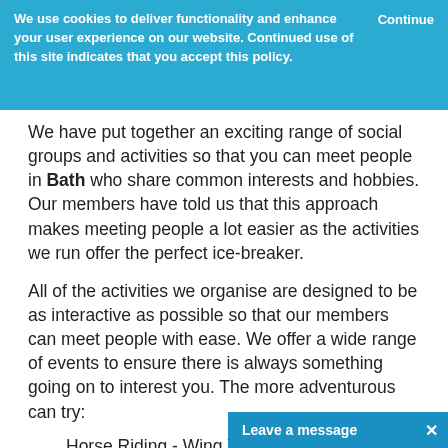We use cookies to deliver functionality and enhance your user experience on our website. Continued use of this site indicates that you accept this policy. Continue
We have put together an exciting range of social groups and activities so that you can meet people in Bath who share common interests and hobbies. Our members have told us that this approach makes meeting people a lot easier as the activities we run offer the perfect ice-breaker.
All of the activities we organise are designed to be as interactive as possible so that our members can meet people with ease. We offer a wide range of events to ensure there is always something going on to interest you. The more adventurous can try:
Horse Riding - Wing Walking - Fire Eating - Sailing - Skiing - M
Leave a message ×